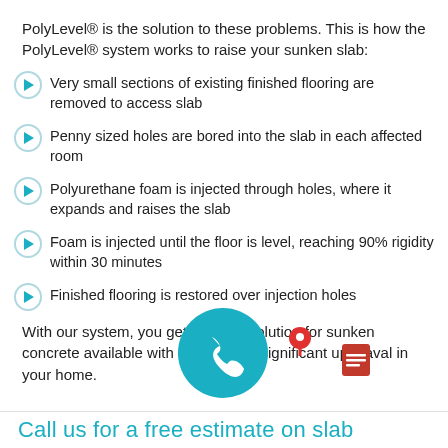PolyLevel® is the solution to these problems. This is how the PolyLevel® system works to raise your sunken slab:
Very small sections of existing finished flooring are removed to access slab
Penny sized holes are bored into the slab in each affected room
Polyurethane foam is injected through holes, where it expands and raises the slab
Foam is injected until the floor is level, reaching 90% rigidity within 30 minutes
Finished flooring is restored over injection holes
With our system, you get the best solution for sunken concrete available with out creating significant upheaval in your home.
Call us for a free estimate on slab